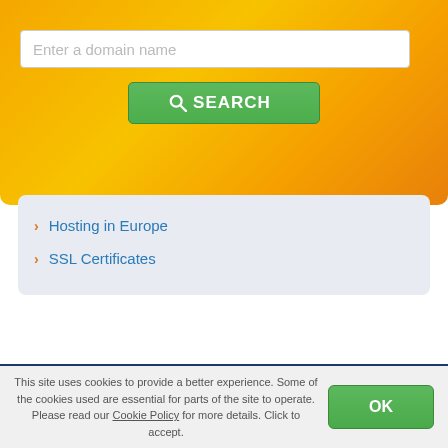[Figure (screenshot): Domain name search widget with orange gradient background, text input placeholder 'Enter a domain name', and a green SEARCH button]
Hosting in Europe
SSL Certificates
Need more information?
If you would like more information have other questions about the .GA domain registration or domains transfer, please don't hesitate to contact us at relations@web-solutions.eu or via phone: +44 (0) 20 4571 1971
This site uses cookies to provide a better experience. Some of the cookies used are essential for parts of the site to operate. Please read our Cookie Policy for more details. Click to accept.